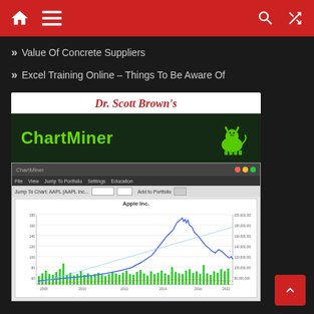Navigation bar with home, menu, search, and shuffle icons
Value Of Concrete Suppliers
Excel Training Online – Things To Be Aware Of
[Figure (screenshot): Dr. Scott Brown's ChartMiner software advertisement banner and screenshot showing Apple Inc. stock price chart with volume bars. The chart shows a blue price line trending upward from 2008 to around 2022 then declining, with green volume bars at the bottom, and a light blue trend line overlay. The x-axis shows dates from approximately 2008 to 2022 and the y-axis shows price and volume data.]